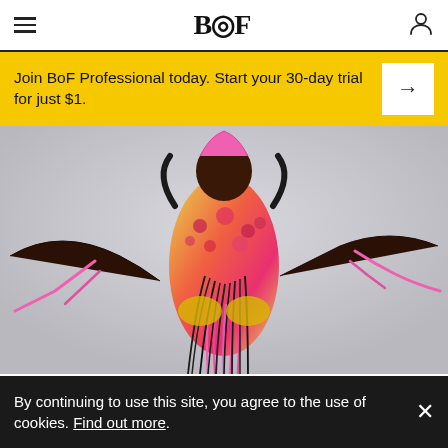BoF
Join BoF Professional today. Start your 30-day trial for just $1.
[Figure (photo): A digital ready-to-wear look from Auroboros: a model in a colorful yellow and pink leopard-print bodysuit with dramatic pink and black fringe/tentacle extensions, arms outstretched, against a light grey background.]
A digital ready-to-wear look from Auroboros available for sale on DressX. DressX.
By CASEY HALL
By continuing to use this site, you agree to the use of cookies. Find out more.